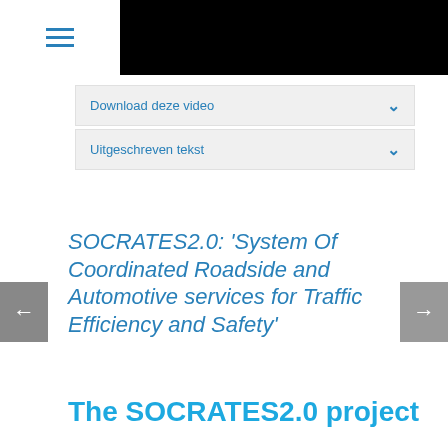[Figure (screenshot): Website header with hamburger menu icon on the left and a black banner on the right]
Download deze video
Uitgeschreven tekst
SOCRATES2.0: 'System Of Coordinated Roadside and Automotive services for Traffic Efficiency and Safety'
The SOCRATES2.0 project